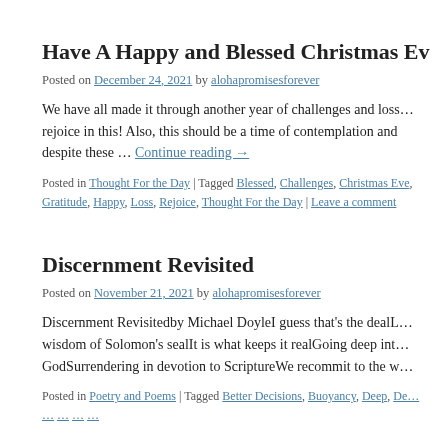Have A Happy and Blessed Christmas Ev…
Posted on December 24, 2021 by alohapromisesforever
We have all made it through another year of challenges and loss… rejoice in this! Also, this should be a time of contemplation and despite these … Continue reading →
Posted in Thought For the Day | Tagged Blessed, Challenges, Christmas Eve, Gratitude, Happy, Loss, Rejoice, Thought For the Day | Leave a comment
Discernment Revisited
Posted on November 21, 2021 by alohapromisesforever
Discernment Revisitedby Michael DoyleI guess that's the dealL… wisdom of Solomon's sealIt is what keeps it realGoing deep into GodSurrendering in devotion to ScriptureWe recommit to the w…
Posted in Poetry and Poems | Tagged Better Decisions, Buoyancy, Deep, De…